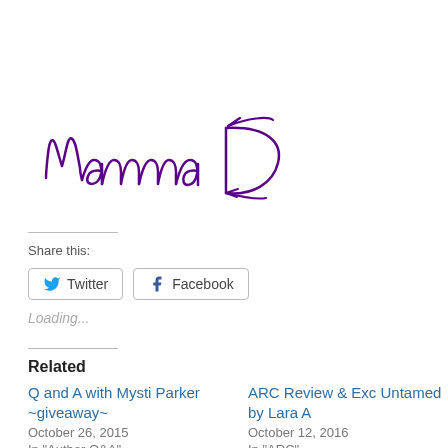[Figure (illustration): Handwritten cursive signature 'Mamma D' in purple ink]
Share this:
[Figure (screenshot): Twitter share button with Twitter bird icon]
[Figure (screenshot): Facebook share button with Facebook icon]
Loading...
Related
Q and A with Mysti Parker ~giveaway~
October 26, 2015
In "Author Q&A"
ARC Review & Exc Untamed by Lara A
October 12, 2016
In "ARC"